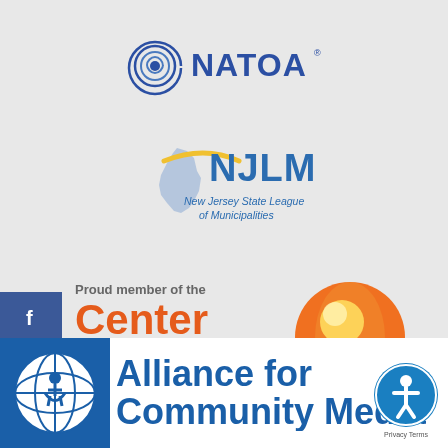[Figure (logo): NATOA logo - circular spiral graphic with NATOA text in dark blue with registered trademark symbol]
[Figure (logo): NJLM - New Jersey State League of Municipalities logo with NJ state outline and yellow arc]
[Figure (logo): Center for Non-Profits logo with orange sphere and text: Proud member of the Center FOR NON-PROFITS, Helping organizations build a better New Jersey]
[Figure (logo): Alliance for Community Media logo with globe and blue text]
[Figure (infographic): Social media sidebar icons for Facebook, LinkedIn, YouTube, Instagram]
[Figure (logo): Accessibility button icon (person in circle) with Privacy/Terms text]